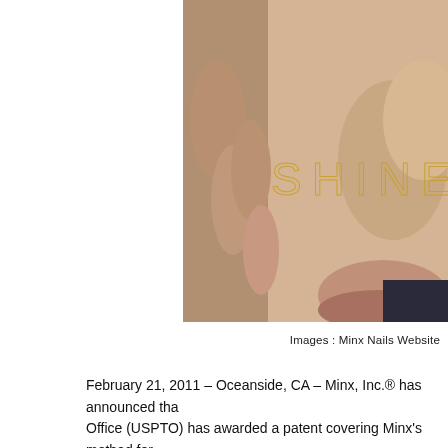[Figure (photo): Close-up photo of a woman's face/hand with the word SHINE overlaid in gold thin letterpress text]
Images : Minx Nails Website
February 21, 2011 – Oceanside, CA – Minx, Inc.® has announced tha... Office (USPTO) has awarded a patent covering Minx's method for coating to nails. The patent, U.S. Patent No. 7,861,730, entitled "Me Nail Coatings to Mammalian and Artificial Nails," provides protect approach for applying a nail coating laminate. "We are pleased th invention and issued this patent," stated Minx co-founder Dawn D other patents covering our intellectual property will issue in the n